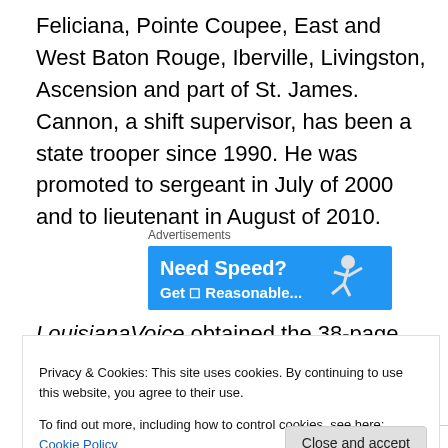Feliciana, Pointe Coupee, East and West Baton Rouge, Iberville, Livingston, Ascension and part of St. James. Cannon, a shift supervisor, has been a state trooper since 1990. He was promoted to sergeant in July of 2000 and to lieutenant in August of 2010.
[Figure (other): Advertisement banner with blue background showing 'Need Speed?' text and a running figure, with 'Get Reasonable...' text below]
LouisianaVoice obtained the 38-page state police internal affairs investigative file on Cannon through a public
Privacy & Cookies: This site uses cookies. By continuing to use this website, you agree to their use.
To find out more, including how to control cookies, see here: Cookie Policy